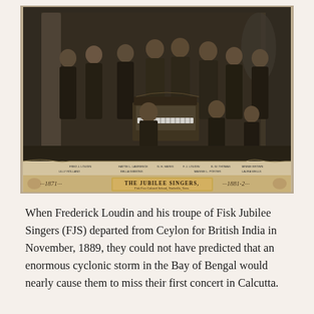[Figure (photo): Black and white historical photograph of The Jubilee Singers, 1881-2, from Fisk University, Nashville, Tenn. A group of approximately 12 African American men and women posed formally, some standing and some seated, with an organ/piano in the center. Text at the bottom of the photograph reads 'THE JUBILEE SINGERS' with the year 1871 on the left and 1881-2 on the right. Names of the individuals are listed in small text below the photo.]
When Frederick Loudin and his troupe of Fisk Jubilee Singers (FJS) departed from Ceylon for British India in November, 1889, they could not have predicted that an enormous cyclonic storm in the Bay of Bengal would nearly cause them to miss their first concert in Calcutta.